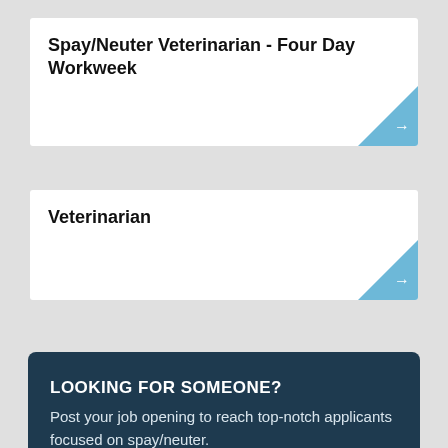Spay/Neuter Veterinarian - Four Day Workweek
Veterinarian
LOOKING FOR SOMEONE?
Post your job opening to reach top-notch applicants focused on spay/neuter.